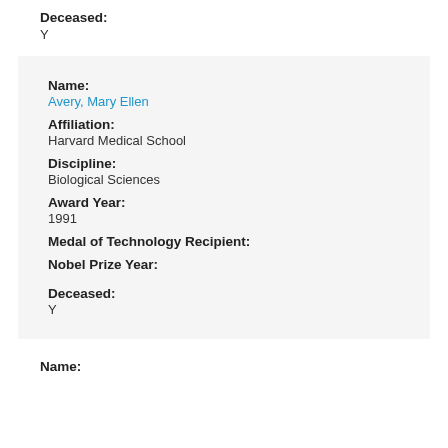Deceased:
Y
Name:
Avery, Mary Ellen
Affiliation:
Harvard Medical School
Discipline:
Biological Sciences
Award Year:
1991
Medal of Technology Recipient:
Nobel Prize Year:
Deceased:
Y
Name: